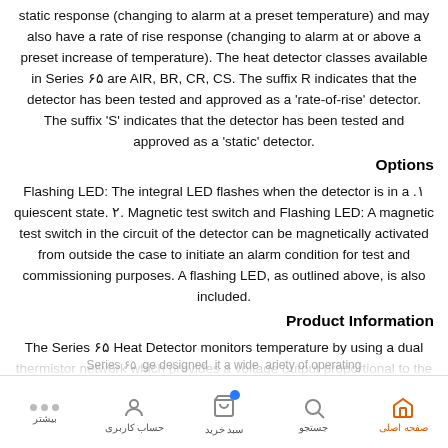static response (changing to alarm at a preset temperature) and may also have a rate of rise response (changing to alarm at or above a preset increase of temperature). The heat detector classes available in Series ۶۵ are AIR, BR, CR, CS. The suffix R indicates that the detector has been tested and approved as a 'rate-of-rise' detector. The suffix 'S' indicates that the detector has been tested and approved as a 'static' detector.
Options
Flashing LED: The integral LED flashes when the detector is in a .۱ quiescent state. ۲. Magnetic test switch and Flashing LED: A magnetic test switch in the circuit of the detector can be magnetically activated from outside the case to initiate an alarm condition for test and commissioning purposes. A flashing LED, as outlined above, is also included.
Product Information
The Series ۶۵ Heat Detector monitors temperature by using a dual thermistor network which provides a voltage output proportional to the external air temperature. There are ۱۲ heat detectors in the
Series ۶۵ ge designed it a wide ariety of operating